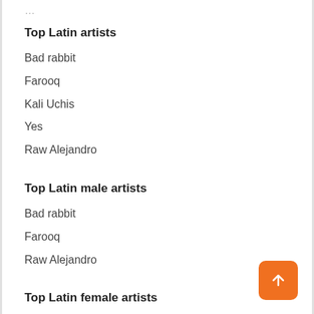…
Top Latin artists
Bad rabbit
Farooq
Kali Uchis
Yes
Raw Alejandro
Top Latin male artists
Bad rabbit
Farooq
Raw Alejandro
Top Latin female artists
Kali Uchis
Yes
Rosalia